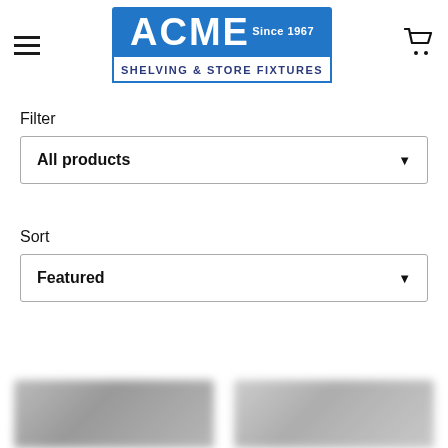ACME SHELVING & STORE FIXTURES Since 1967
Filter
All products ▼
Sort
Featured ▼
[Figure (photo): Blurred product images at bottom of page]